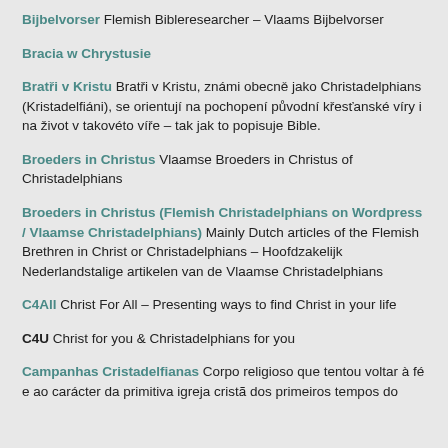Bijbelvorser Flemish Bibleresearcher – Vlaams Bijbelvorser
Bracia w Chrystusie
Bratři v Kristu Bratři v Kristu, známi obecně jako Christadelphians (Kristadelfiáni), se orientují na pochopení původní křesťanské víry i na život v takovéto víře – tak jak to popisuje Bible.
Broeders in Christus Vlaamse Broeders in Christus of Christadelphians
Broeders in Christus (Flemish Christadelphians on Wordpress / Vlaamse Christadelphians) Mainly Dutch articles of the Flemish Brethren in Christ or Christadelphians – Hoofdzakelijk Nederlandstalige artikelen van de Vlaamse Christadelphians
C4All Christ For All – Presenting ways to find Christ in your life
C4U Christ for you & Christadelphians for you
Campanhas Cristadelfianas Corpo religioso que tentou voltar à fé e ao carácter da primitiva igreja cristã dos primeiros tempos do